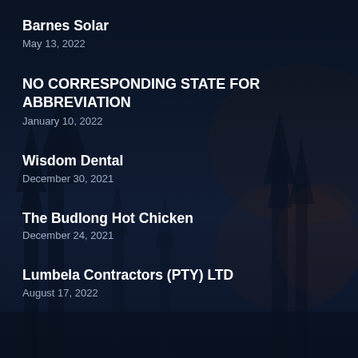Barnes Solar
May 13, 2022
NO CORRESPONDING STATE FOR ABBREVIATION
January 10, 2022
Wisdom Dental
December 30, 2021
The Budlong Hot Chicken
December 24, 2021
Lumbela Contractors (PTY) LTD
August 17, 2022